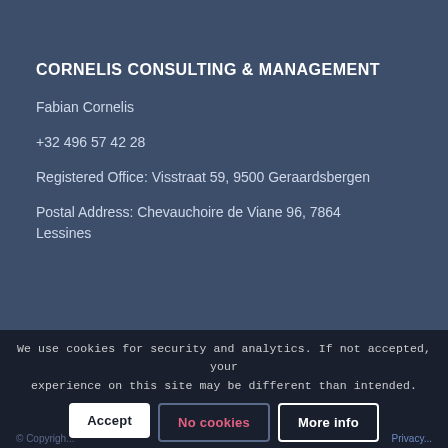CORNELIS CONSULTING & MANAGEMENT
Fabian Cornelis
+32 496 57 42 28
Registered Office: Visstraat 59, 9500 Geraardsbergen
Postal Address: Chevauchoire de Viane 96, 7864 Lessines
We use cookies for security and analytics. If not accepted, your experience on this site may be different than intended.
Accept
No cookies
More info
© Copyright   Privacy
Privacy